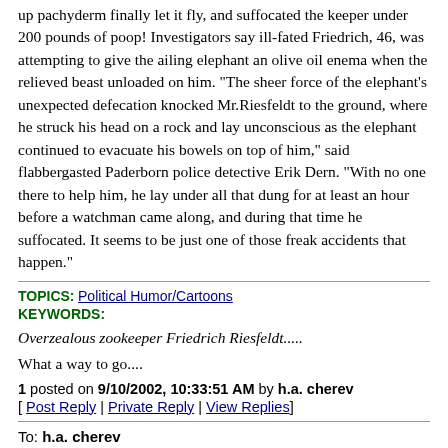up pachyderm finally let it fly, and suffocated the keeper under 200 pounds of poop! Investigators say ill-fated Friedrich, 46, was attempting to give the ailing elephant an olive oil enema when the relieved beast unloaded on him. "The sheer force of the elephant's unexpected defecation knocked Mr.Riesfeldt to the ground, where he struck his head on a rock and lay unconscious as the elephant continued to evacuate his bowels on top of him," said flabbergasted Paderborn police detective Erik Dern. "With no one there to help him, he lay under all that dung for at least an hour before a watchman came along, and during that time he suffocated. It seems to be just one of those freak accidents that happen."
TOPICS: Political Humor/Cartoons
KEYWORDS:
Overzealous zookeeper Friedrich Riesfeldt.....
What a way to go....
1 posted on 9/10/2002, 10:33:51 AM by h.a. cherev
[ Post Reply | Private Reply | View Replies]
To: h.a. cherev
The elephant story remind me of an old joke: